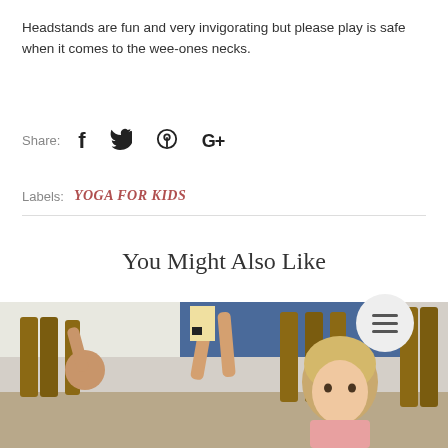Headstands are fun and very invigorating but please play is safe when it comes to the wee-ones necks.
Share:  f  ✦  ⊕  G+
Labels:  YOGA FOR KIDS
You Might Also Like
[Figure (photo): Children sitting in a classroom with wooden chairs raising their hands, a young blonde girl visible in the foreground]